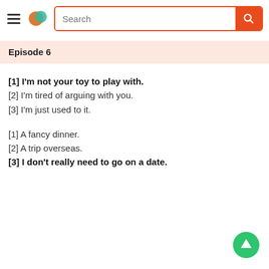[Figure (screenshot): App header with hamburger menu, logo (orange and teal overlapping circles), search bar with orange border and search button]
Episode 6
[1] I'm not your toy to play with.
[2] I'm tired of arguing with you.
[3] I'm just used to it.
[1] A fancy dinner.
[2] A trip overseas.
[3] I don't really need to go on a date.
[Figure (illustration): Green circle button with white upward arrow (scroll to top)]